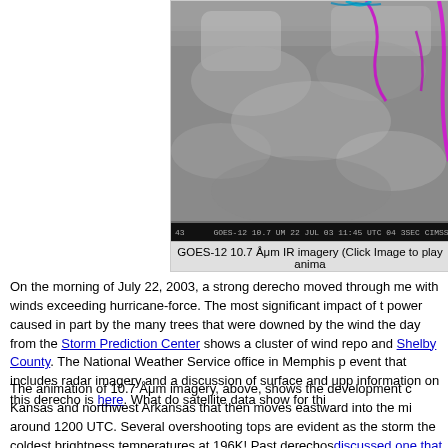[Figure (photo): GOES-12 10.7 Åμm IR satellite imagery showing a weather system with cloud formations. The image has a dark status bar at the bottom reading 'GOES-12 10.7 UM 22 JUL 03 11:45 UTC 04 3SEC CIMSS'. Colors include grayscale clouds with magenta/pink and blue-green color enhancements.]
GOES-12 10.7 Åμm IR imagery (Click Image to play anima
On the morning of July 22, 2003, a strong derecho moved through me with winds exceeding hurricane-force. The most significant impact of t power caused in part by the many trees that were downed by the wind the day from the Storm Prediction Center shows a cluster of wind repo and Shelby County. The National Weather Service office in Memphis p event that includes radar imagery and a discussion of surface and upp information on this derecho is here. What do satellite data show for thi
The animation of 10.7 Åμm imagery, above, shows the development c Kansas and northwest Arkansas that then moves eastward into the mi around 1200 UTC. Several overshooting tops are evident as the storm the coldest brightness temperatures at 196K! Past derechos discussed one that hit the East Coast in 2012) were characterized by a channel e aligned with the storm motion, allowing the propagating thunderstorm source of moisture and instability. This event in 2003 was no different. retrievals — during that year, 3×3 fields-of-view were used (versus sin Precipitable Water, Convective Available Potential Energy (CAPE) an abundant moisture and instability aligned west-to-east across northern exceeded 3000 J/kg, Total Precipitable Water was greater than 2 inch